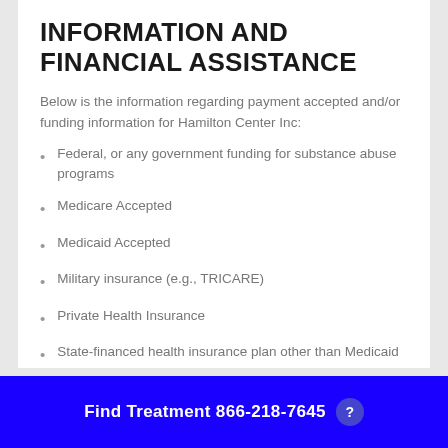INFORMATION AND FINANCIAL ASSISTANCE
Below is the information regarding payment accepted and/or funding information for Hamilton Center Inc:
Federal, or any government funding for substance abuse programs
Medicare Accepted
Medicaid Accepted
Military insurance (e.g., TRICARE)
Private Health Insurance
State-financed health insurance plan other than Medicaid
Sliding fee scale (fee is based on income and
Find Treatment 866-218-7645